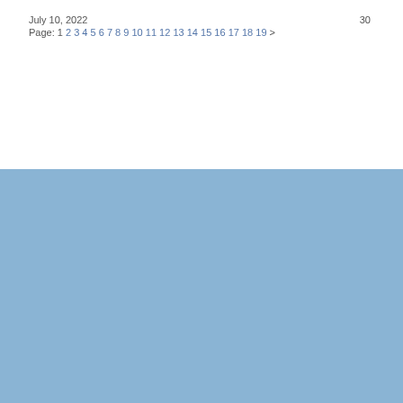July 10, 2022    30
Page: 1 2 3 4 5 6 7 8 9 10 11 12 13 14 15 16 17 18 19 >
[Figure (other): Solid light blue rectangle filling the bottom half of the page]